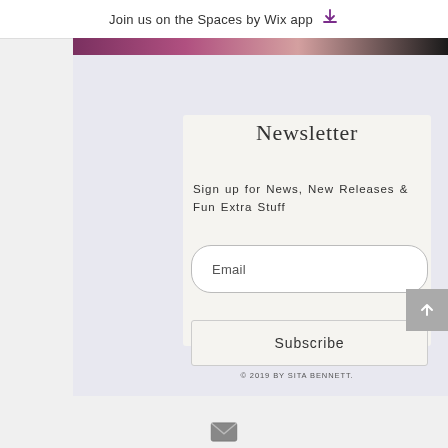Join us on the Spaces by Wix app
[Figure (photo): Photo strip of a person with reddish hair, cropped at top of content area]
Newsletter
Sign up for News, New Releases & Fun Extra Stuff
Email
Subscribe
© 2019 by Sita Bennett.
[Figure (illustration): Email envelope icon at bottom center of page]